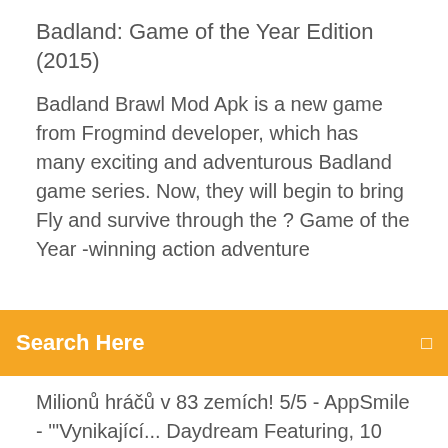Badland: Game of the Year Edition (2015)
Badland Brawl Mod Apk is a new game from Frogmind developer, which has many exciting and adventurous Badland game series. Now, they will begin to bring Fly and survive through the ? Game of the Year -winning action adventure
Search Here
Milionů hráčů v 83 zemích! 5/5 - AppSmile - '"Vynikající... Daydream Featuring, 10 new single player levels, 30 new missions and 5 new achievements- the 'Daydream' pack also includes Snorf's (one of the multiplayer characters in Badland) journey through some of the more bizarre parts of Badland. The biggest totally free game fix & trainer library online for PC Games [https://gamecopyworld.com] Badland Brawl Mod Apk 2 0 3 2 - Stiahnite si túto hru z Microsoft Storu pre Windows 10 Mobile, Windows Phone 8.1, Windows Phone 8. Pozrite si